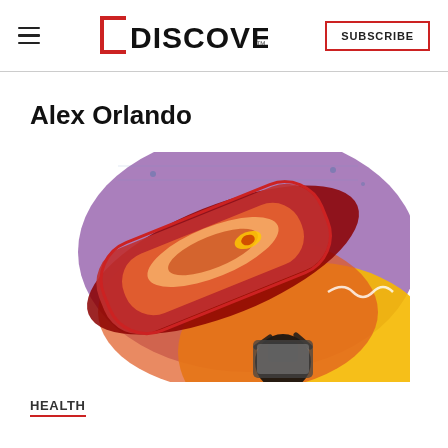DISCOVER — SUBSCRIBE
Alex Orlando
[Figure (illustration): Colorful digital illustration showing a top-down view of a person lying in what appears to be a medical scanning tube (MRI or similar), rendered in red and orange tones with purple and yellow abstract shapes in the background. A second figure is visible below looking up at the scanner.]
HEALTH